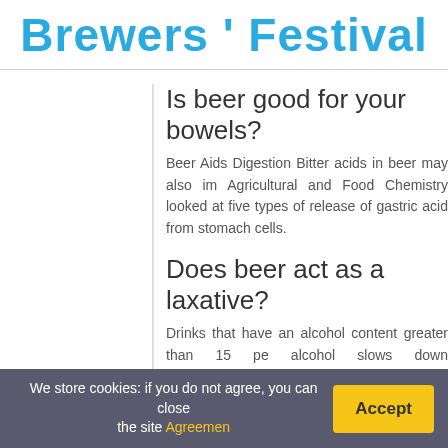Brewers ' Festival
Is beer good for your bowels?
Beer Aids Digestion Bitter acids in beer may also im Agricultural and Food Chemistry looked at five types of release of gastric acid from stomach cells.
Does beer act as a laxative?
Drinks that have an alcohol content greater than 15 pe alcohol slows down gastrointestinal motility, which can b contents can increase gastric emptying rates. Examples
What are the first signs of liver damage f
Generally, symptoms of alcoholic liver disease include
We store cookies: if you do not agree, you can close the site Agreemen